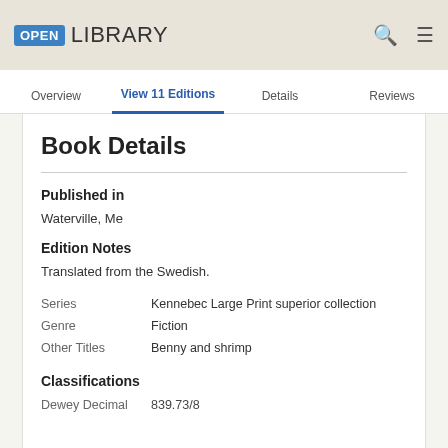OPEN LIBRARY
Overview | View 11 Editions | Details | Reviews
Book Details
Published in
Waterville, Me
Edition Notes
Translated from the Swedish.
|  |  |
| --- | --- |
| Series | Kennebec Large Print superior collection |
| Genre | Fiction |
| Other Titles | Benny and shrimp |
Classifications
|  |  |
| --- | --- |
| Dewey Decimal | 839.73/8 |